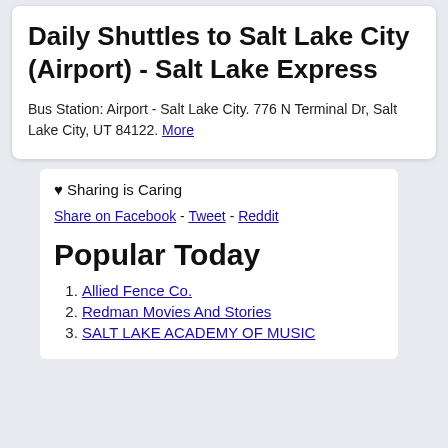Daily Shuttles to Salt Lake City (Airport) - Salt Lake Express
Bus Station: Airport - Salt Lake City. 776 N Terminal Dr, Salt Lake City, UT 84122. More
♥ Sharing is Caring
Share on Facebook - Tweet - Reddit
Popular Today
Allied Fence Co.
Redman Movies And Stories
SALT LAKE ACADEMY OF MUSIC